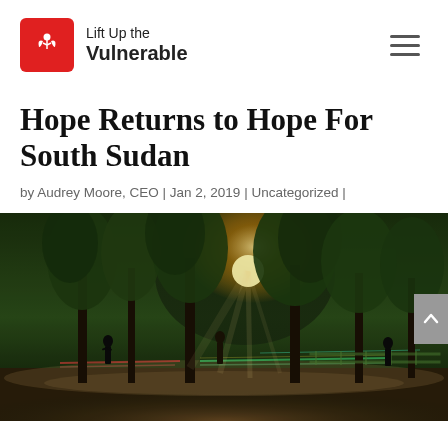Lift Up the Vulnerable
Hope Returns to Hope For South Sudan
by Audrey Moore, CEO | Jan 2, 2019 | Uncategorized |
[Figure (photo): Outdoor scene with tall trees, people walking through misty golden light at dusk or dawn, with light trails in the background suggesting traffic or movement]